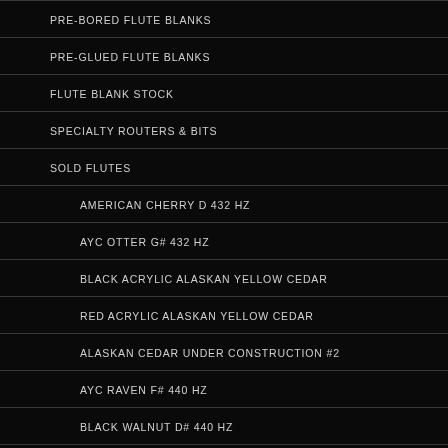PRE-BORED FLUTE BLANKS
PRE-GLUED FLUTE BLANKS
FLUTE BLANK STOCK
SPECIALTY ROUTERS & BITS
SOLD FLUTES
AMERICAN CHERRY D 432 HZ
AYC OTTER G# 432 HZ
BLACK ACRYLIC ALASKAN YELLOW CEDAR
RED ACRYLIC ALASKAN YELLOW CEDAR
ALASKAN CEDAR UNDER CONSTRUCTION #2
AYC RAVEN F# 440 HZ
BLACK WALNUT D# 440 HZ